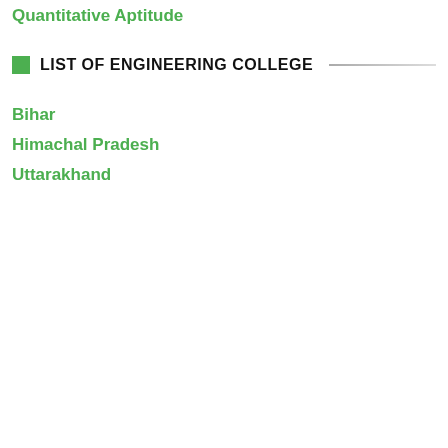Quantitative Aptitude
LIST OF ENGINEERING COLLEGE
Bihar
Himachal Pradesh
Uttarakhand